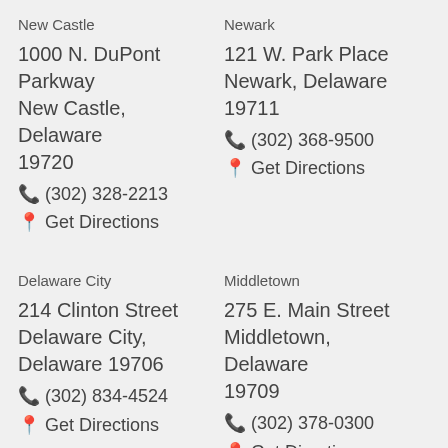New Castle
1000 N. DuPont Parkway
New Castle, Delaware 19720
(302) 328-2213
Get Directions
Newark
121 W. Park Place
Newark, Delaware 19711
(302) 368-9500
Get Directions
Delaware City
214 Clinton Street
Delaware City, Delaware 19706
(302) 834-4524
Get Directions
Middletown
275 E. Main Street
Middletown, Delaware 19709
(302) 378-0300
Get Directions